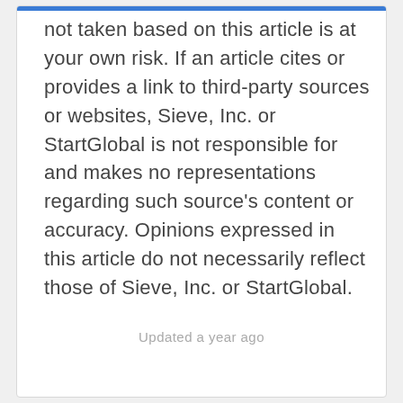not taken based on this article is at your own risk. If an article cites or provides a link to third-party sources or websites, Sieve, Inc. or StartGlobal is not responsible for and makes no representations regarding such source's content or accuracy. Opinions expressed in this article do not necessarily reflect those of Sieve, Inc. or StartGlobal.
Updated a year ago